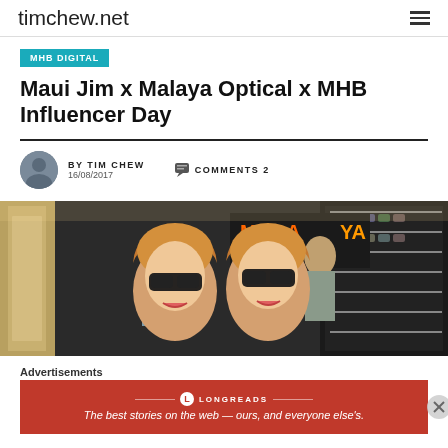timchew.net
MHB DIGITAL
Maui Jim x Malaya Optical x MHB Influencer Day
BY TIM CHEW  COMMENTS 2  16/08/2017
[Figure (photo): Two young women wearing sunglasses inside Malaya Optical store, with eyewear displays visible in background and store signage reading MALAYA OPTICAL]
Advertisements
[Figure (infographic): Longreads advertisement banner in red: 'The best stories on the web — ours, and everyone else's.']